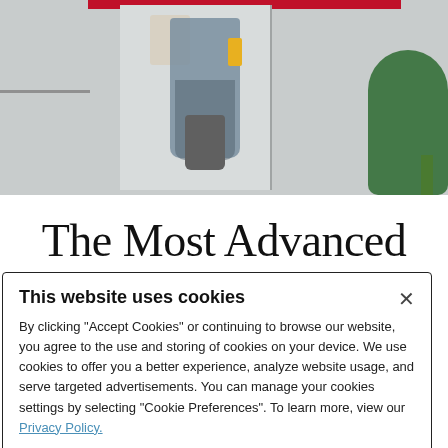[Figure (photo): A bathroom or laundry area scene showing a jacket hanging on a hook near a door, a small trash can on the floor, and a green plant on the right side. A red bar appears at the top of the image.]
The Most Advanced
This website uses cookies

By clicking "Accept Cookies" or continuing to browse our website, you agree to the use and storing of cookies on your device. We use cookies to offer you a better experience, analyze website usage, and serve targeted advertisements. You can manage your cookies settings by selecting "Cookie Preferences". To learn more, view our Privacy Policy.